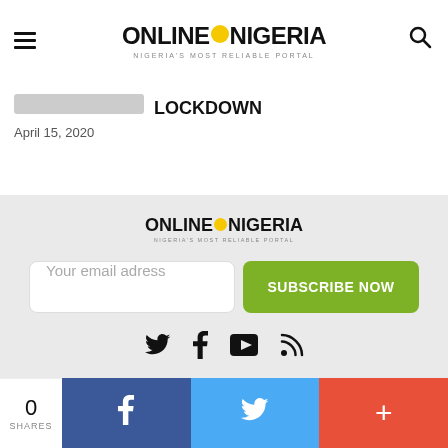ONLINE NIGERIA - NIGERIA'S MOST RELIABLE PORTAL
LOCKDOWN
April 15, 2020
[Figure (logo): Online Nigeria logo with tagline NIGERIA'S MOST RELIABLE PORTAL in footer section]
Your email adress
SUBSCRIBE NOW
[Figure (infographic): Social media icons: Twitter bird, Facebook f, YouTube play button, RSS feed icon]
0 SHARES | Facebook | Twitter | +